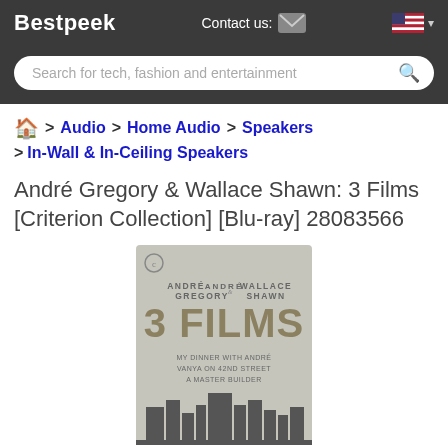Bestpeek   Contact us:   [flag]
Search for tech, fashion and entertainment
🏠 > Audio > Home Audio > Speakers > In-Wall & In-Ceiling Speakers
André Gregory & Wallace Shawn: 3 Films [Criterion Collection] [Blu-ray] 28083566
[Figure (photo): Blu-ray cover for André Gregory & Wallace Shawn: 3 Films Criterion Collection. Gray cover with city skyline silhouette at bottom, shows names ANDRE GREGORY & WALLACE SHAWN, title 3 FILMS, subtitle MY DINNER WITH ANDRE / VANYA ON 42ND STREET / A MASTER BUILDER]